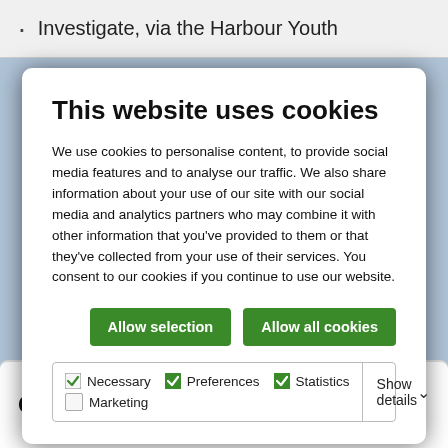· Investigate, via the Harbour Youth
This website uses cookies
We use cookies to personalise content, to provide social media features and to analyse our traffic. We also share information about your use of our site with our social media and analytics partners who may combine it with other information that you've provided to them or that they've collected from your use of their services. You consent to our cookies if you continue to use our website.
Allow selection | Allow all cookies
| Necessary | Preferences | Statistics | Marketing | Show details |
| --- | --- | --- | --- | --- |
Community & Vocational sub-pages: